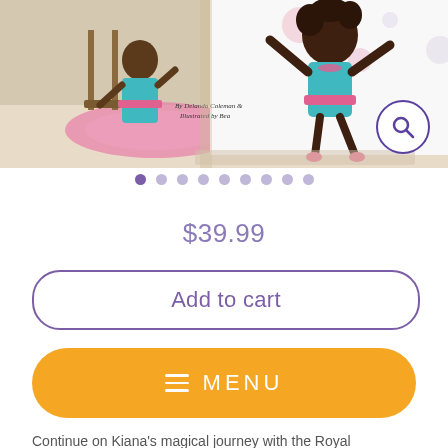[Figure (illustration): Children's book illustration showing cartoon characters - young girls in teal/pink ballet outfits in a dance studio setting with pink rug, ballet barre, and polka dot decorations. Text partially visible: 'By Delanda Coleman &...' and 'Illustrated by Bea...' A magnifying glass search icon button overlays the top-right corner.]
[Figure (other): Image carousel navigation dots - 9 dots total, first dot is purple/filled (active), remaining 8 are light gray/outline]
$39.99
Add to cart
MENU
Continue on Kiana's magical journey with the Royal